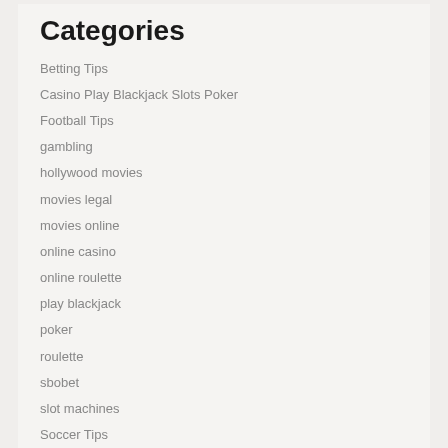Categories
Betting Tips
Casino Play Blackjack Slots Poker
Football Tips
gambling
hollywood movies
movies legal
movies online
online casino
online roulette
play blackjack
poker
roulette
sbobet
slot machines
Soccer Tips